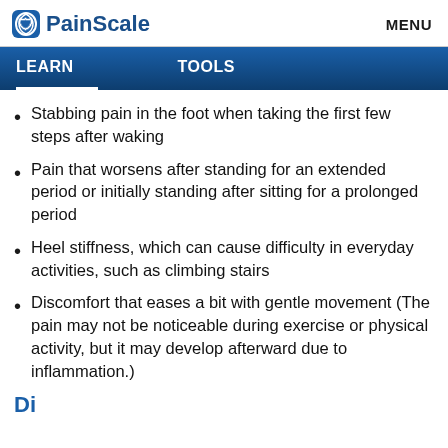PainScale   MENU
LEARN   TOOLS
Stabbing pain in the foot when taking the first few steps after waking
Pain that worsens after standing for an extended period or initially standing after sitting for a prolonged period
Heel stiffness, which can cause difficulty in everyday activities, such as climbing stairs
Discomfort that eases a bit with gentle movement (The pain may not be noticeable during exercise or physical activity, but it may develop afterward due to inflammation.)
Di...